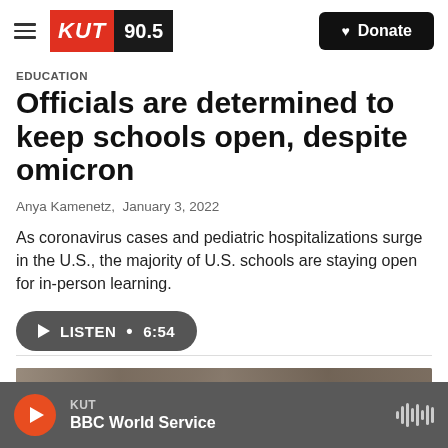KUT 90.5 | Donate
Education
Officials are determined to keep schools open, despite omicron
Anya Kamenetz, January 3, 2022
As coronavirus cases and pediatric hospitalizations surge in the U.S., the majority of U.S. schools are staying open for in-person learning.
[Figure (other): LISTEN • 6:54 audio player button]
[Figure (photo): Partial photo strip of a classroom scene]
KUT | BBC World Service